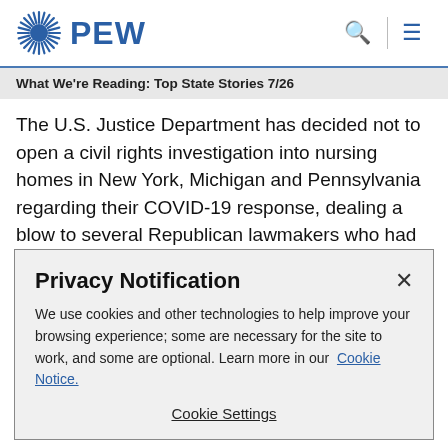PEW
What We're Reading: Top State Stories 7/26
The U.S. Justice Department has decided not to open a civil rights investigation into nursing homes in New York, Michigan and Pennsylvania regarding their COVID-19 response, dealing a blow to several Republican lawmakers who had demanded a probe. One underlying issue is whether the three states with Democratic governors
Privacy Notification
We use cookies and other technologies to help improve your browsing experience; some are necessary for the site to work, and some are optional. Learn more in our Cookie Notice.
Cookie Settings